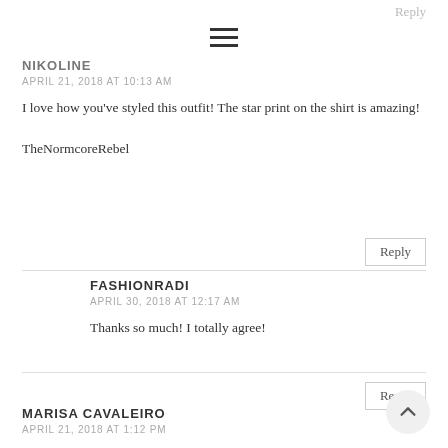Reply
NIKOLINE
APRIL 21, 2018 AT 10:13 AM
I love how you've styled this outfit! The star print on the shirt is amazing!
TheNormcoreRebel
Reply
FASHIONRADI
APRIL 30, 2018 AT 12:17 AM
Thanks so much! I totally agree!
Reply
MARISA CAVALEIRO
APRIL 21, 2018 AT 1:12 PM
Love your style. And pics.
Xoxo from Portugal